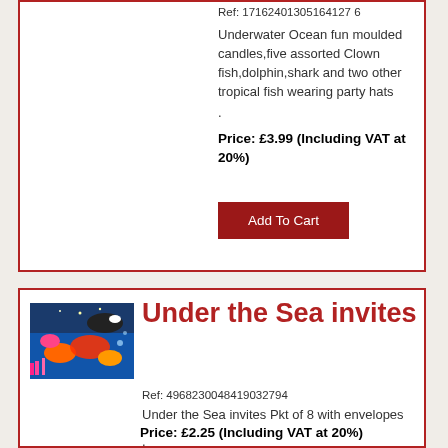Ref: 17162401305164127 6
Underwater Ocean fun moulded candles,five assorted Clown fish,dolphin,shark and two other tropical fish wearing party hats
.
Price: £3.99 (Including VAT at 20%)
Add To Cart
[Figure (photo): Product image of Under the Sea invites showing colorful underwater scene]
Under the Sea invites
Ref: 4968230048419032794
Under the Sea invites Pkt of 8 with envelopes
.
Price: £2.25 (Including VAT at 20%)